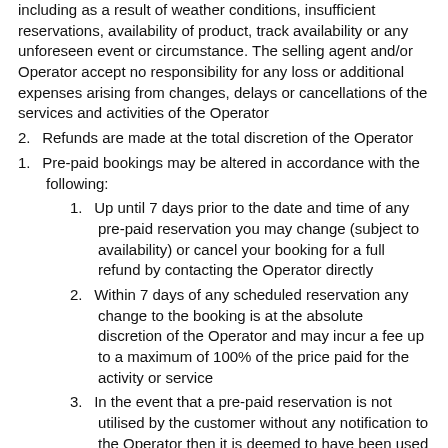including as a result of weather conditions, insufficient reservations, availability of product, track availability or any unforeseen event or circumstance. The selling agent and/or Operator accept no responsibility for any loss or additional expenses arising from changes, delays or cancellations of the services and activities of the Operator
2. Refunds are made at the total discretion of the Operator
3. Pre-paid bookings may be altered in accordance with the following:
1. Up until 7 days prior to the date and time of any pre-paid reservation you may change (subject to availability) or cancel your booking for a full refund by contacting the Operator directly
2. Within 7 days of any scheduled reservation any change to the booking is at the absolute discretion of the Operator and may incur a fee up to a maximum of 100% of the price paid for the activity or service
3. In the event that a pre-paid reservation is not utilised by the customer without any notification to the Operator then it is deemed to have been used
4. Gift Cards/Vouchers – Cards/Vouchers have no value until activated at the time of purchase. Minimum value of $10 is required. To redeem, the card/voucher needs to be presented